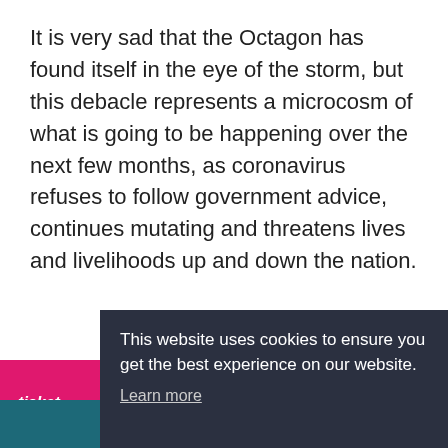It is very sad that the Octagon has found itself in the eye of the storm, but this debacle represents a microcosm of what is going to be happening over the next few months, as coronavirus refuses to follow government advice, continues mutating and threatens lives and livelihoods up and down the nation.
This website uses cookies to ensure you get the best experience on our website.
Learn more
Got it!